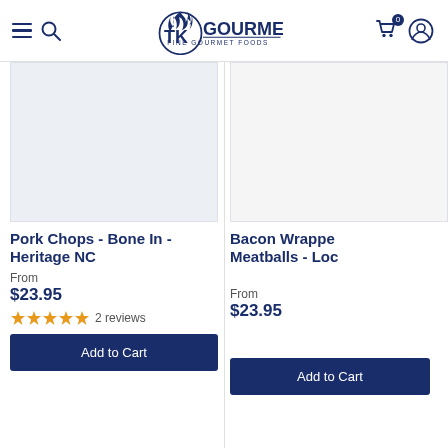TK Gourmet Fine Gourmet Foods
[Figure (photo): Product image placeholder for Pork Chops - Bone In - Heritage NC (light gray box)]
Pork Chops - Bone In - Heritage NC
From
$23.95
2 reviews
Add to Cart
[Figure (photo): Product image placeholder for Bacon Wrapped Meatballs - Loc... (white/light box, partially visible)]
Bacon Wrapped Meatballs - Loc...
From
$23.95
Add to Cart